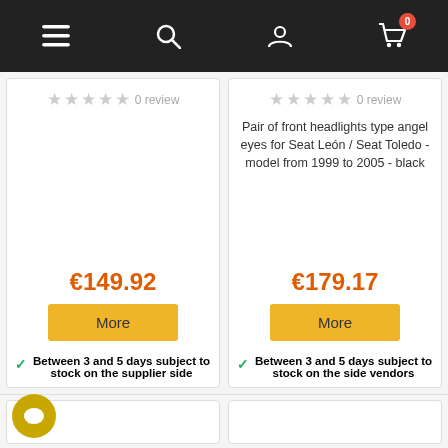Navigation bar with menu, search, account, and cart (0 items) icons
0 review
€149.92
More
Between 3 and 5 days subject to stock on the supplier side
0 review
Pair of front headlights type angel eyes for Seat León / Seat Toledo - model from 1999 to 2005 - black
€179.17
More
Between 3 and 5 days subject to stock on the side vendors